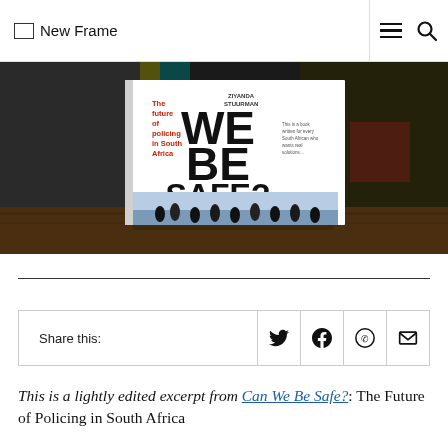New Frame
[Figure (photo): Photograph of the book 'Can We Be Safe? The future of policing in South Africa' by Ziyanda Stuurman, displayed on a wooden surface against a dark blurred background. The book cover shows bold text 'WE BE SAFE?' and red subtitle text.]
Share this:
This is a lightly edited excerpt from Can We Be Safe?: The Future of Policing in South Africa